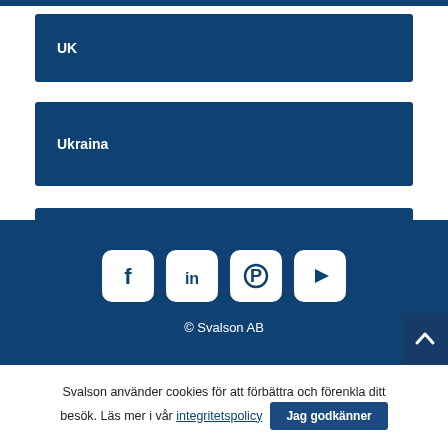UK
Ukraina
Österrike
[Figure (infographic): Footer with social media icons (Facebook, LinkedIn, Pinterest, YouTube) and copyright text '© Svalson AB']
Svalson använder cookies för att förbättra och förenkla ditt besök. Läs mer i vår integritetspolicy  Jag godkänner